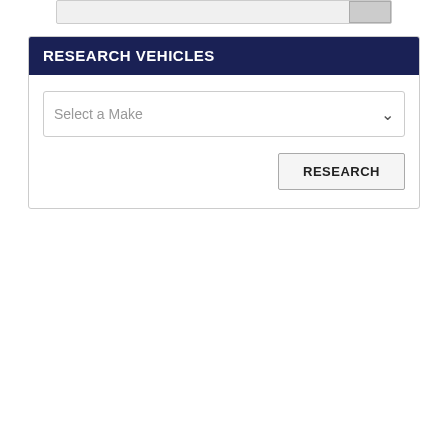[Figure (screenshot): Partial top bar UI element with a light gray input/search bar and a gray button on the right edge]
RESEARCH VEHICLES
[Figure (screenshot): A dropdown selector labeled 'Select a Make' with a chevron arrow on the right]
[Figure (screenshot): A button labeled 'RESEARCH' aligned to the right]